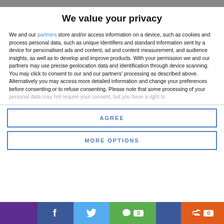Cookie settings
We value your privacy
We and our partners store and/or access information on a device, such as cookies and process personal data, such as unique identifiers and standard information sent by a device for personalised ads and content, ad and content measurement, and audience insights, as well as to develop and improve products. With your permission we and our partners may use precise geolocation data and identification through device scanning. You may click to consent to our and our partners' processing as described above. Alternatively you may access more detailed information and change your preferences before consenting or to refuse consenting. Please note that some processing of your personal data may not require your consent, but you have a right to
AGREE
MORE OPTIONS